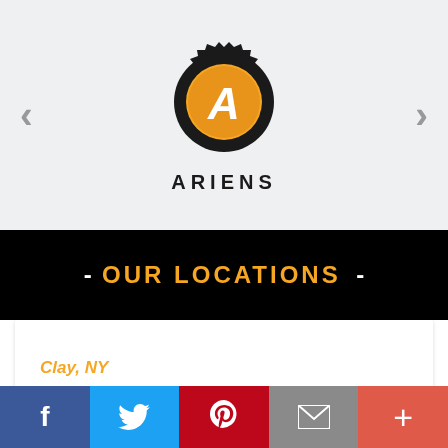[Figure (logo): Ariens brand logo — black gear shape with orange circle containing a stylized white 'A', with ARIENS text below in bold black letters]
- OUR LOCATIONS -
Clay, NY
[Figure (other): Social media share bar with Facebook, Twitter, Pinterest, Email, and More (+) buttons]